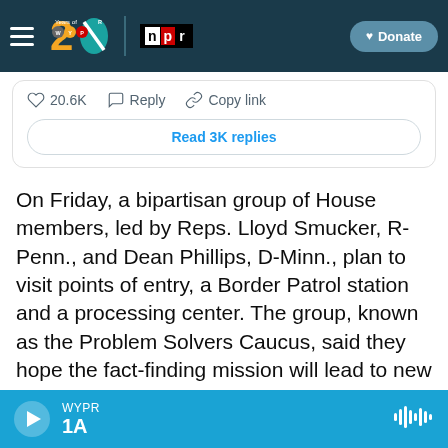WYPR 20 Years of WYPR | npr | Donate
[Figure (screenshot): Partial tweet interaction bar showing heart icon with 20.6K likes, Reply button, Copy link button, and a 'Read 3K replies' button]
On Friday, a bipartisan group of House members, led by Reps. Lloyd Smucker, R-Penn., and Dean Phillips, D-Minn., plan to visit points of entry, a Border Patrol station and a processing center. The group, known as the Problem Solvers Caucus, said they hope the fact-finding mission will lead to new solutions.
"The crisis at the border is one of the most pressing
WYPR 1A (audio player)